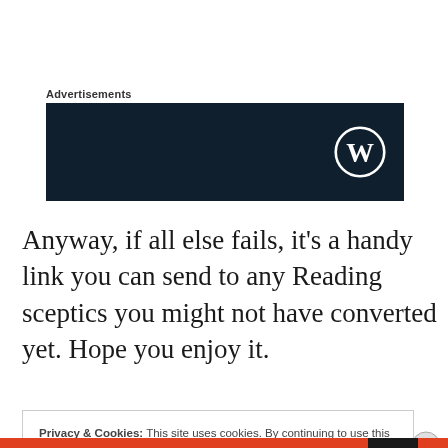Advertisements
[Figure (logo): Dark navy blue advertisement banner with a WordPress logo (W in circle) in the bottom right corner]
Anyway, if all else fails, it’s a handy link you can send to any Reading sceptics you might not have converted yet. Hope you enjoy it.
Privacy & Cookies: This site uses cookies. By continuing to use this website, you agree to their use.
To find out more, including how to control cookies, see here: Cookie Policy
Close and accept